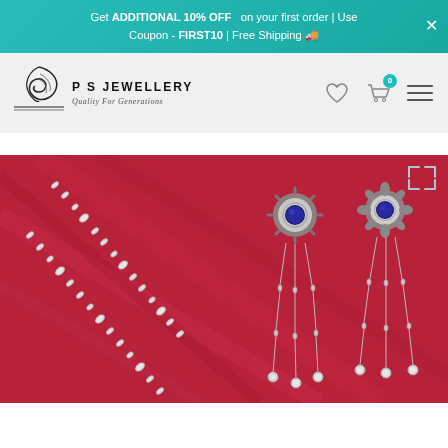Get ADDITIONAL 10% OFF on your first order | Use Coupon - FIRST10 | Free Shipping 🚚
[Figure (logo): PS Jewellery logo with decorative swirl and tagline 'Quality For Generations']
[Figure (photo): Silver jewellery set displayed on red fabric background — includes a delicate chain bracelet/necklace with small diamond accents on the left, and two ornate drop earrings with dark blue/sapphire center stones and dangling chain tassels on the right]